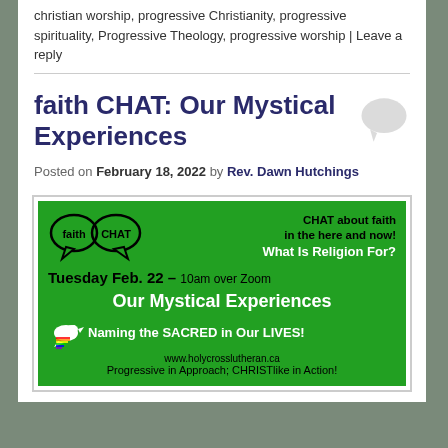christian worship, progressive Christianity, progressive spirituality, Progressive Theology, progressive worship | Leave a reply
faith CHAT: Our Mystical Experiences
Posted on February 18, 2022 by Rev. Dawn Hutchings
[Figure (illustration): Green promotional banner for faith CHAT event featuring two speech bubbles with 'faith' and 'CHAT' text, advertising 'Our Mystical Experiences' on Tuesday Feb. 22 at 10am over Zoom, with tagline 'Naming the SACRED in Our LIVES!' and website www.holycrosslutheran.ca]